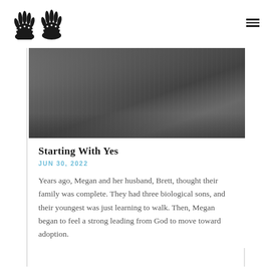[Figure (logo): Hands of Hope logo: two hand prints with text HANDS OF HOPE below]
[Figure (photo): Black and white photo of two children running through grass/outdoor field, viewed from behind]
Starting With Yes
JUN 30, 2022
Years ago, Megan and her husband, Brett, thought their family was complete. They had three biological sons, and their youngest was just learning to walk. Then, Megan began to feel a strong leading from God to move toward adoption.